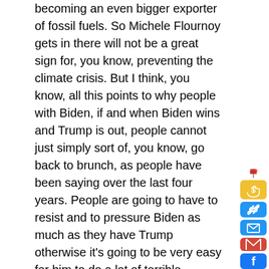becoming an even bigger exporter of fossil fuels. So Michele Flournoy gets in there will not be a great sign for, you know, preventing the climate crisis. But I think, you know, all this points to why people with Biden, if and when Biden wins and Trump is out, people cannot just simply sort of, you know, go back to brunch, as people have been saying over the last four years. People are going to have to resist and to pressure Biden as much as they have Trump otherwise it's going to be very easy for him to do a lot of terrible, terrible things.
Paul Jay
I think they're going to have to pressure Biden more than Trump because, with Trump, there was very little chance of actually influencing any policy. But Biden needs to hear the footsteps in the streets. His
[Figure (illustration): Social sharing sidebar icons: red mailbox illustration, yellow dollar/hand icon, blue chain-link icon, blue email envelope icon, red Gmail icon, blue Facebook icon]